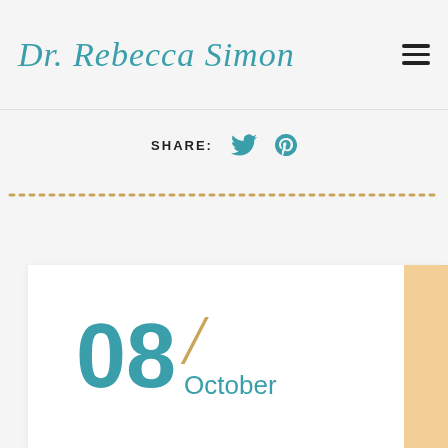Dr. Rebecca Simon
SHARE:
[Figure (other): Dotted gold/tan horizontal divider line]
08 / October